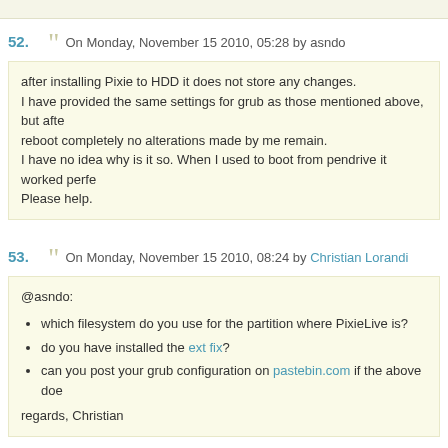(top strip — partial previous comment)
52.	 On Monday, November 15 2010, 05:28 by asndo
after installing Pixie to HDD it does not store any changes.
I have provided the same settings for grub as those mentioned above, but after reboot completely no alterations made by me remain.
I have no idea why is it so. When I used to boot from pendrive it worked perfe...
Please help.
53.	 On Monday, November 15 2010, 08:24 by Christian Lorandi
@asndo:
which filesystem do you use for the partition where PixieLive is?
do you have installed the ext fix?
can you post your grub configuration on pastebin.com if the above doe...
regards, Christian
54.	 On Tuesday, November 16 2010, 20:10 by asndo
1.
Thank you, I've reread all the website's content and the point was the grub en...